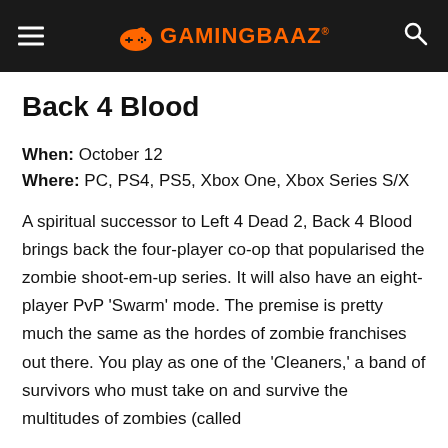GamingBaaz
Back 4 Blood
When: October 12
Where: PC, PS4, PS5, Xbox One, Xbox Series S/X
A spiritual successor to Left 4 Dead 2, Back 4 Blood brings back the four-player co-op that popularised the zombie shoot-em-up series. It will also have an eight-player PvP 'Swarm' mode. The premise is pretty much the same as the hordes of zombie franchises out there. You play as one of the 'Cleaners,' a band of survivors who must take on and survive the multitudes of zombies (called